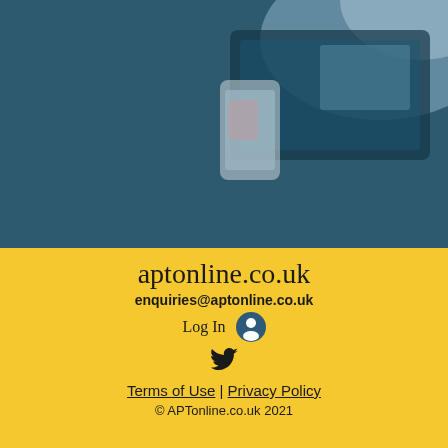[Figure (photo): Blurred photograph of a laptop/tablet and a mobile phone on a dark teal/navy background, with light blue tones in the upper area.]
aptonline.co.uk
enquiries@aptonline.co.uk
Log In
[Figure (illustration): Twitter bird icon in dark/black color]
Terms of Use  |  Privacy Policy
© APTonline.co.uk 2021